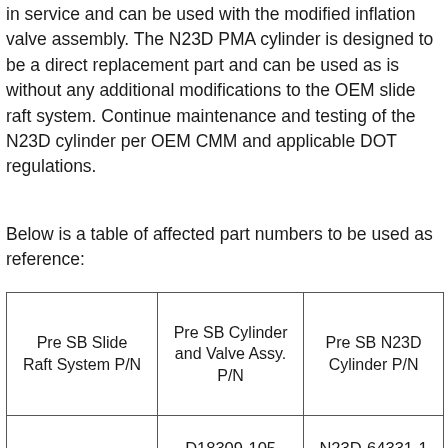in service and can be used with the modified inflation valve assembly. The N23D PMA cylinder is designed to be a direct replacement part and can be used as is without any additional modifications to the OEM slide raft system. Continue maintenance and testing of the N23D cylinder per OEM CMM and applicable DOT regulations.
Below is a table of affected part numbers to be used as reference:
| Pre SB Slide Raft System P/N | Pre SB Cylinder and Valve Assy. P/N | Pre SB N23D Cylinder P/N |
| --- | --- | --- |
| D30664-105 | D18309-105 | N23D-64331-1 |
| D30664-105 | D18309-205 | N23D-64331-1 |